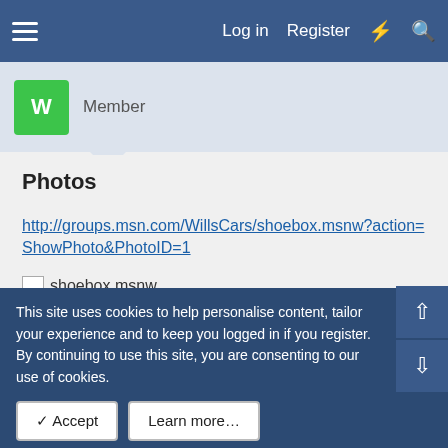Log in  Register
Member
Photos
http://groups.msn.com/WillsCars/shoebox.msnw?action=ShowPhoto&PhotoID=1
[Figure (other): Broken image placeholder with filename: shoebox.msnw]
http://groups.msn.com/WillsCars/shoebox.msnw?action=ShowPhoto&PhotoID=3
http://groups.msn.com/WillsCars/shoebox.msnw?
This site uses cookies to help personalise content, tailor your experience and to keep you logged in if you register.
By continuing to use this site, you are consenting to our use of cookies.